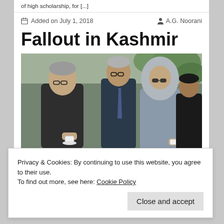of high scholarship, for [...]
Added on July 1, 2018   A.G. Noorani
Fallout in Kashmir
[Figure (photo): Group of people outdoors, including an elderly man in dark suit holding a cup and a woman in grey hijab with sunglasses, with others standing behind them.]
Privacy & Cookies: By continuing to use this website, you agree to their use.
To find out more, see here: Cookie Policy
Close and accept
meeting of the North Pole and the South Pole,